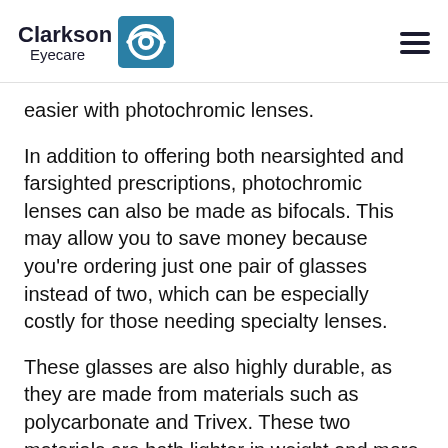Clarkson Eyecare [logo]
easier with photochromic lenses.
In addition to offering both nearsighted and farsighted prescriptions, photochromic lenses can also be made as bifocals. This may allow you to save money because you're ordering just one pair of glasses instead of two, which can be especially costly for those needing specialty lenses.
These glasses are also highly durable, as they are made from materials such as polycarbonate and Trivex. These two materials are both lighter in weight and more scratch resistant when compared to traditional prescription lens materials.